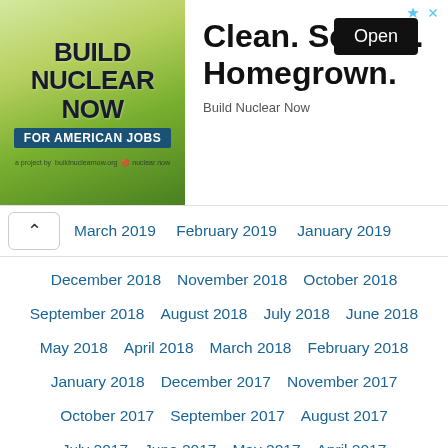[Figure (other): Advertisement banner for 'Build Nuclear Now' with slogan 'Clean. Secure. Homegrown.' and an Open button]
March 2019   February 2019   January 2019
December 2018   November 2018   October 2018
September 2018   August 2018   July 2018   June 2018
May 2018   April 2018   March 2018   February 2018
January 2018   December 2017   November 2017
October 2017   September 2017   August 2017
July 2017   June 2017   May 2017   April 2017
March 2017   February 2017   January 2017
December 2016   November 2016   October 2016
September 2016   August 2016   July 2016   June 2016
May 2016   April 2016   March 2016   February 2016
January 2016   December 2015   November 2015